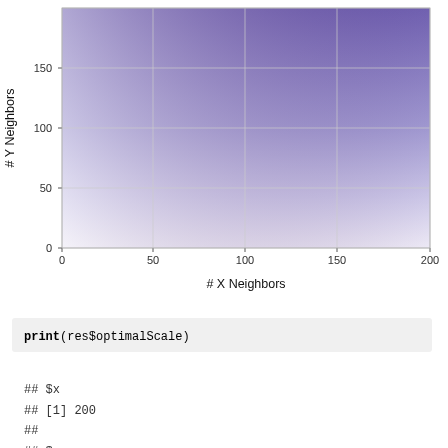[Figure (continuous-plot): A 2D contour/heatmap plot showing a gradient from light (near origin) to dark purple (upper-right). Y-axis labeled '# Y Neighbors' with ticks at 0, 50, 100, 150. X-axis labeled '# X Neighbors' with ticks at 0, 50, 100, 150, 200. The color intensity increases with both X and Y neighbors, representing some performance metric.]
print(res$optimalScale)
## $x
## [1] 200
##
## $y